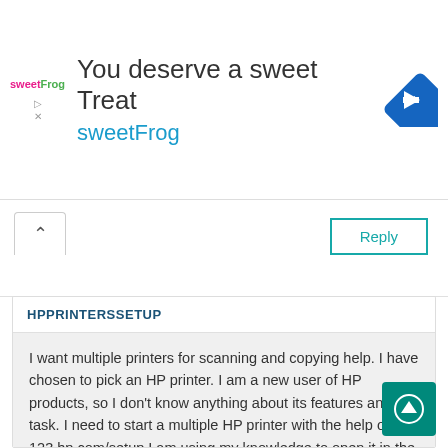[Figure (screenshot): sweetFrog advertisement banner with logo, text 'You deserve a sweet Treat', 'sweetFrog', and a blue diamond direction icon]
Reply
HPPRINTERSSETUP
I want multiple printers for scanning and copying help. I have chosen to pick an HP printer. I am a new user of HP products, so I don't know anything about its features and task. I need to start a multiple HP printer with the help of 123.hp.com/setup.I am using my knowledge to open it in the internet browser and type my model number. After this command, I am finishing the next technical procedure. At the center of the process, I am experiencing issues. So I am sharing this issue with you too, guys. Could anyone refer to the